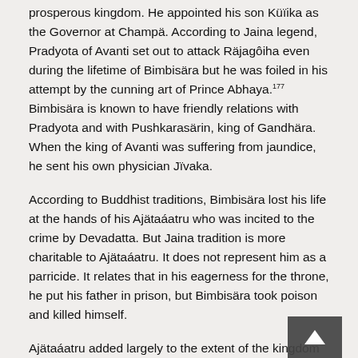prosperous kingdom. He appointed his son Küïika as the Governor at Champä. According to Jaina legend, Pradyota of Avanti set out to attack Räjagôiha even during the lifetime of Bimbisära but he was foiled in his attempt by the cunning art of Prince Abhaya.177 Bimbisära is known to have friendly relations with Pradyota and with Pushkarasärin, king of Gandhära. When the king of Avanti was suffering from jaundice, he sent his own physician Jïvaka.
According to Buddhist traditions, Bimbisära lost his life at the hands of his Ajätaáatru who was incited to the crime by Devadatta. But Jaina tradition is more charitable to Ajätaáatru. It does not represent him as a parricide. It relates that in his eagerness for the throne, he put his father in prison, but Bimbisära took poison and killed himself.
Ajätaáatru added largely to the extent of the kingdom by his conquests. He started with a war against Kosala because Prasenajit revoked his gift of the Käáï village after the death of